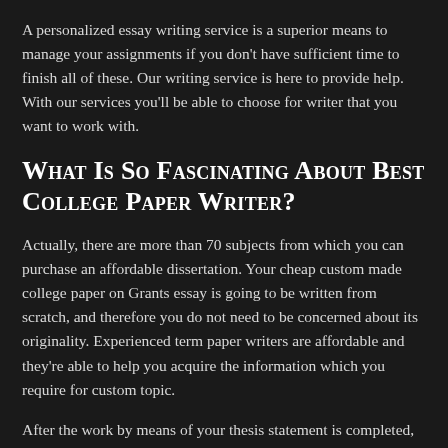A personalized essay writing service is a superior means to manage your assignments if you don't have sufficient time to finish all of these. Our writing service is here to provide help. With our services you'll be able to choose for writer that you want to work with.
What Is So Fascinating About Best College Paper Writer?
Actually, there are more than 70 subjects from which you can purchase an affordable dissertation. Your cheap custom made college paper on Grants essay is going to be written from scratch, and therefore you do not need to be concerned about its originality. Experienced term paper writers are affordable and they're able to help you acquire the information which you require for custom topic.
After the work by means of your thesis statement is completed, begin to consider your essay organization. Locating a low-cost essay writing service isn't always quick. You don't have to have a